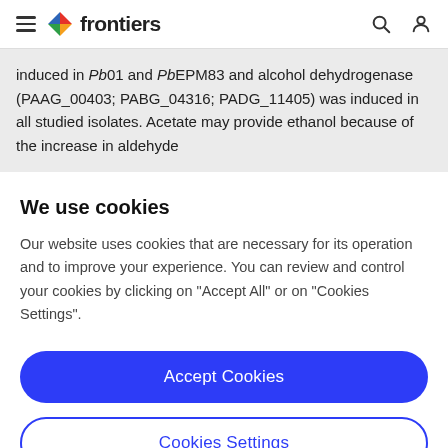frontiers
induced in Pb01 and PbEPM83 and alcohol dehydrogenase (PAAG_00403; PABG_04316; PADG_11405) was induced in all studied isolates. Acetate may provide ethanol because of the increase in aldehyde
We use cookies
Our website uses cookies that are necessary for its operation and to improve your experience. You can review and control your cookies by clicking on "Accept All" or on "Cookies Settings".
Accept Cookies
Cookies Settings